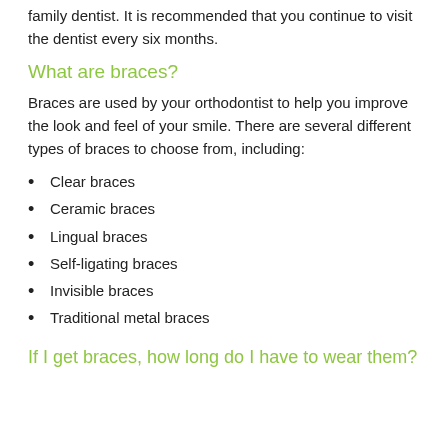Be sure to schedule your routine checkups with your family dentist. It is recommended that you continue to visit the dentist every six months.
What are braces?
Braces are used by your orthodontist to help you improve the look and feel of your smile. There are several different types of braces to choose from, including:
Clear braces
Ceramic braces
Lingual braces
Self-ligating braces
Invisible braces
Traditional metal braces
If I get braces, how long do I have to wear them?